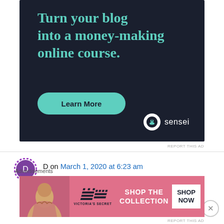[Figure (screenshot): Sensei advertisement banner on dark navy background. Text reads 'Turn your blog into a money-making online course.' with a teal 'Learn More' button and Sensei logo at bottom right.]
REPORT THIS AD
D on March 1, 2020 at 6:23 am
I also finished two this month. Tale of Nokdu and Crash Landing On You. I really didn't like tale of
Advertisements
[Figure (screenshot): Victoria's Secret advertisement banner with pink background, woman's photo, VS logo, 'SHOP THE COLLECTION' text, and 'SHOP NOW' button.]
REPORT THIS AD